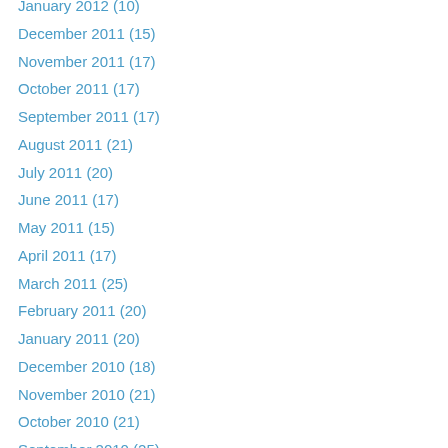January 2012 (10)
December 2011 (15)
November 2011 (17)
October 2011 (17)
September 2011 (17)
August 2011 (21)
July 2011 (20)
June 2011 (17)
May 2011 (15)
April 2011 (17)
March 2011 (25)
February 2011 (20)
January 2011 (20)
December 2010 (18)
November 2010 (21)
October 2010 (21)
September 2010 (25)
August 2010 (20)
July 2010 (10)
June 2010 (11)